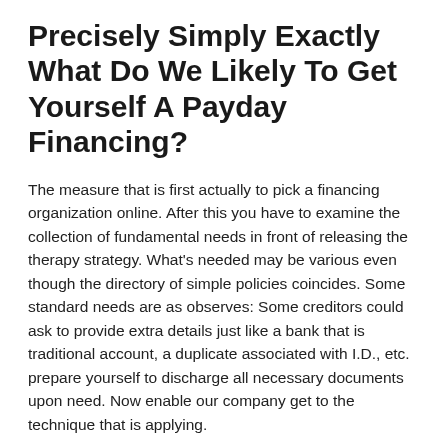Precisely Simply Exactly What Do We Likely To Get Yourself A Payday Financing?
The measure that is first actually to pick a financing organization online. After this you have to examine the collection of fundamental needs in front of releasing the therapy strategy. What's needed may be various even though the directory of simple policies coincides. Some standard needs are as observes: Some creditors could ask to provide extra details just like a bank that is traditional account, a duplicate associated with I.D., etc. prepare yourself to discharge all necessary documents upon need. Now enable our company get to the technique that is applying.
Stages to getting loans which are payday Alexandria (I . online